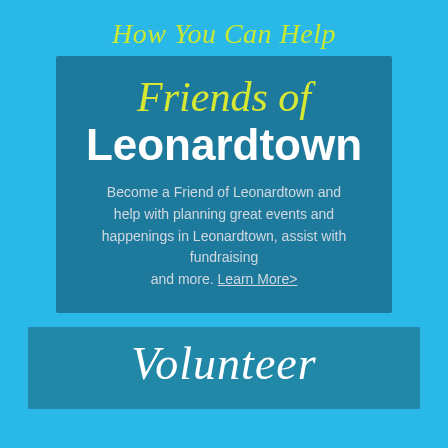How You Can Help
Friends of Leonardtown
Become a Friend of Leonardtown and help with planning great events and happenings in Leonardtown, assist with fundraising and more. Learn More>
Volunteer